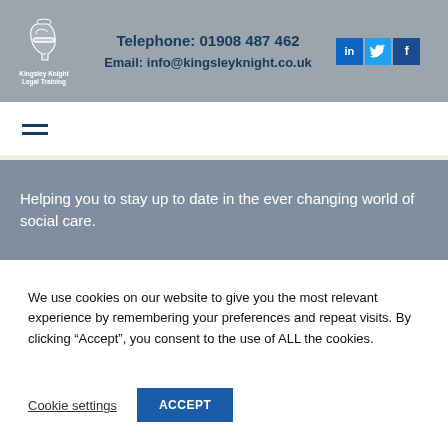Telephone: 01908 487 462 | Email: info@kingsleyknight.co.uk | Kingsley Knight Legal Training
[Figure (logo): Kingsley Knight Legal Training logo with knight helmet illustration]
Helping you to stay up to date in the ever changing world of social care.
We use cookies on our website to give you the most relevant experience by remembering your preferences and repeat visits. By clicking “Accept”, you consent to the use of ALL the cookies.
Cookie settings
ACCEPT